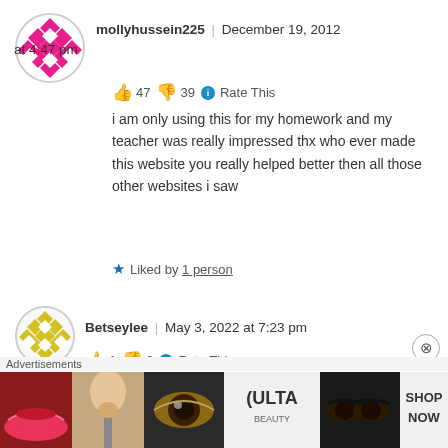[Figure (illustration): Pink diamond/harlequin pattern avatar in a circle for user mollyhussein225]
mollyhussein225 | December 19, 2012 at 4:47 pm
👍 47 👎 39 ℹ Rate This
i am only using this for my homework and my teacher was really impressed thx who ever made this website you really helped better then all those other websites i saw
★ Liked by 1 person
[Figure (illustration): Yellow diamond/harlequin pattern avatar in a circle for user Betseylee]
Betseylee | May 3, 2022 at 7:23 pm
👍 1 👎 0 ℹ Rate This
Advertisements
[Figure (photo): ULTA beauty advertisement banner showing makeup products and faces]